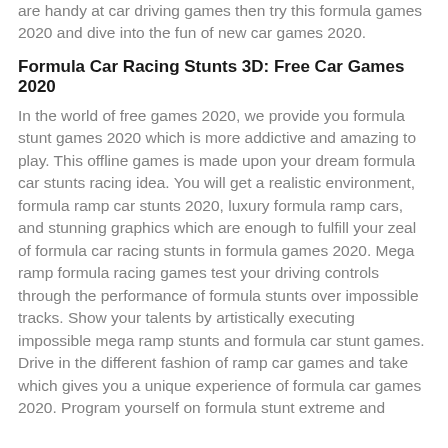are handy at car driving games then try this formula games 2020 and dive into the fun of new car games 2020.
Formula Car Racing Stunts 3D: Free Car Games 2020
In the world of free games 2020, we provide you formula stunt games 2020 which is more addictive and amazing to play. This offline games is made upon your dream formula car stunts racing idea. You will get a realistic environment, formula ramp car stunts 2020, luxury formula ramp cars, and stunning graphics which are enough to fulfill your zeal of formula car racing stunts in formula games 2020. Mega ramp formula racing games test your driving controls through the performance of formula stunts over impossible tracks. Show your talents by artistically executing impossible mega ramp stunts and formula car stunt games. Drive in the different fashion of ramp car games and take which gives you a unique experience of formula car games 2020. Program yourself on formula stunt extreme and